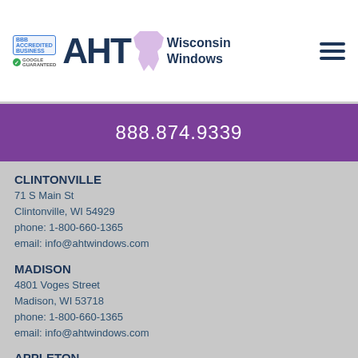[Figure (logo): AHT Wisconsin Windows logo with BBB Accredited Business badge and Google Guaranteed badge, plus hamburger menu icon]
888.874.9339
CLINTONVILLE
71 S Main St
Clintonville, WI 54929
phone: 1-800-660-1365
email: info@ahtwindows.com
MADISON
4801 Voges Street
Madison, WI 53718
phone: 1-800-660-1365
email: info@ahtwindows.com
APPLETON
1873 N Casaloma Dr.
Appleton, WI 54913
phone: (920) 831-0682
email: info@ahtwindows.com